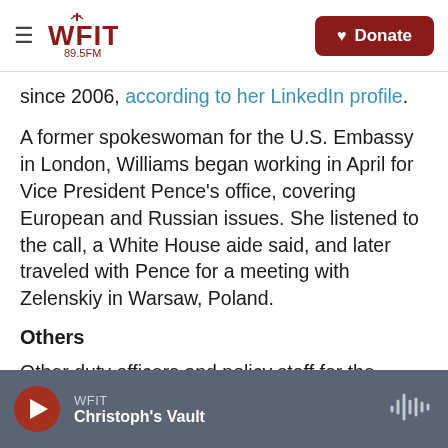WFIT 89.5FM | Donate
since 2006, according to her LinkedIn profile.
A former spokeswoman for the U.S. Embassy in London, Williams began working in April for Vice President Pence's office, covering European and Russian issues. She listened to the call, a White House aide said, and later traveled with Pence for a meeting with Zelenskiy in Warsaw, Poland.
Others
Other duty officers and policy staff for the White House Situation Room are believed to have
WFIT | Christoph's Vault